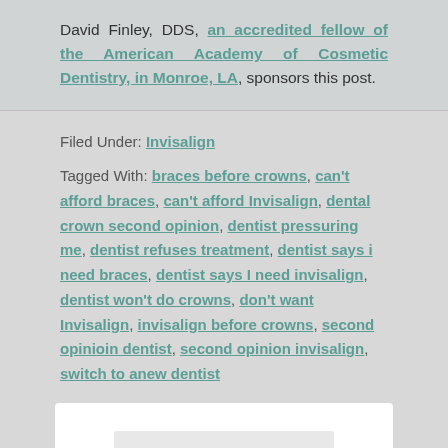David Finley, DDS, an accredited fellow of the American Academy of Cosmetic Dentistry, in Monroe, LA, sponsors this post.
Filed Under: Invisalign
Tagged With: braces before crowns, can't afford braces, can't afford Invisalign, dental crown second opinion, dentist pressuring me, dentist refuses treatment, dentist says i need braces, dentist says I need invisalign, dentist won't do crowns, don't want Invisalign, invisalign before crowns, second opinioin dentist, second opinion invisalign, switch to anew dentist